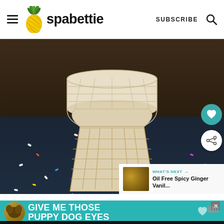spabettie — SUBSCRIBE
[Figure (photo): An empty sugar/waffle ice cream cone sitting upright on a dark navy blue fabric/textile surface with colorful sprinkles scattered around it. The cone is photographed close up against a dark wooden background.]
WHAT'S NEXT → Oil Free Spicy Ginger Vanil...
[Figure (photo): Advertisement banner: GIVE ME THOSE PUPPY DOG EYES with a dog photo on the left]